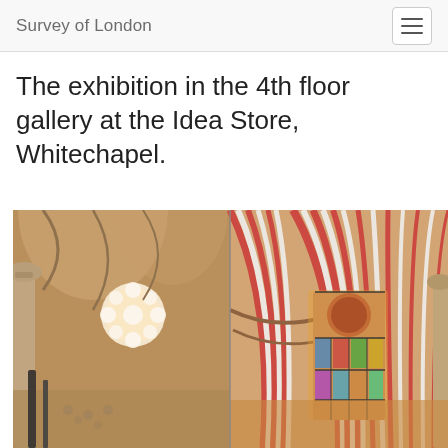Survey of London
The exhibition in the 4th floor gallery at the Idea Store, Whitechapel.
[Figure (photo): Interior photograph of a Gothic-style church showing pointed vaulted arches with red and cream striped ribbing, ornate columns, and stained glass windows at the apse end. The image appears to be a composite or split view showing two perspectives of the same church interior.]